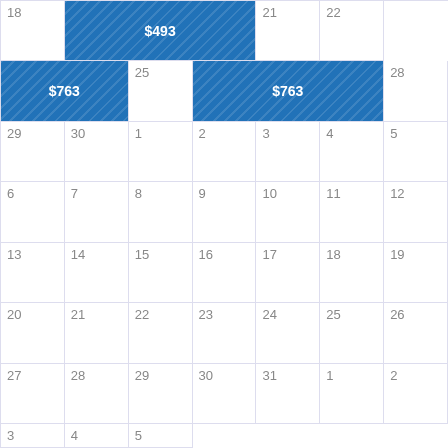| Sun | Mon | Tue | Wed | Thu | Fri | Sat |
| --- | --- | --- | --- | --- | --- | --- |
| 18 | 19 | 20 | $493 (18-20) | 21 | 22 | $763 (23-24) | 23 | 24 |
| 25 | 26 | 27 | $763 (25-27) | 28 | 29 | 30 | 1 |
| 2 | 3 | 4 | 5 | 6 | 7 | 8 |
| 9 | 10 | 11 | 12 | 13 | 14 | 15 |
| 16 | 17 | 18 | 19 | 20 | 21 | 22 |
| 23 | 24 | 25 | 26 | 27 | 28 | 29 |
| 30 | 31 | 1 | 2 | 3 | 4 | 5 |